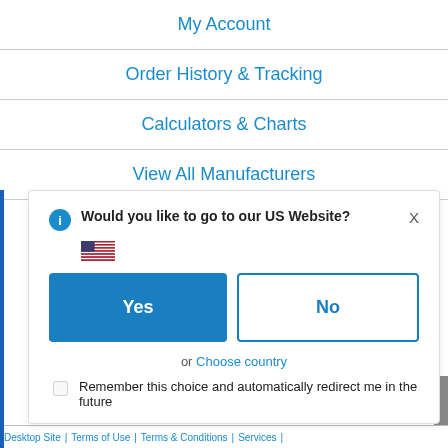My Account
Order History & Tracking
Calculators & Charts
View All Manufacturers
Engineering Glossary
Would you like to go to our US Website?
Yes
No
or Choose country
Remember this choice and automatically redirect me in the future
Desktop Site | Terms of Use | Terms & Conditions | Services |